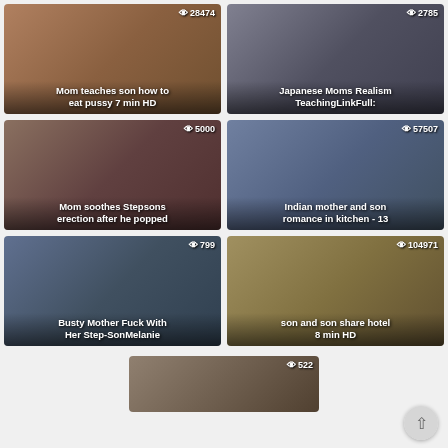[Figure (screenshot): Video thumbnail grid showing adult video titles with view counts. Row 1: 'Mom teaches son how to eat pussy 7 min HD' (28474 views), 'Japanese Moms Realism TeachingLinkFull:' (2785 views). Row 2: 'Mom soothes Stepsons erection after he popped' (5000 views), 'Indian mother and son romance in kitchen - 13' (57507 views). Row 3: 'Busty Mother Fuck With Her Step-SonMelanie' (799 views), 'son and son share hotel 8 min HD' (104971 views). Row 4 partial: one thumbnail (522 views).]